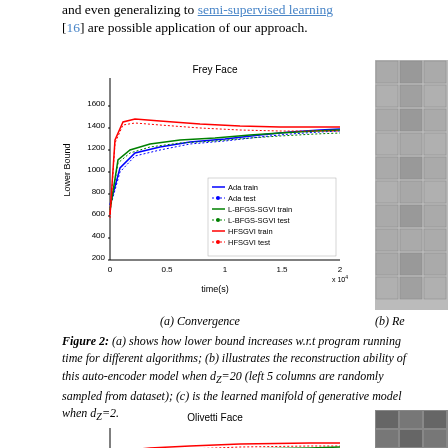and even generalizing to semi-supervised learning [16] are possible application of our approach.
[Figure (line-chart): Convergence plot showing Lower Bound vs time for Ada train, Ada test, L-BFGS-SGVI train, L-BFGS-SGVI test, HFSGVI train, HFSGVI test. Y-axis 200-1600, X-axis 0-2 x10^4.]
[Figure (photo): Grid of grayscale face images (Frey Face reconstructions), partially visible on right side]
(a) Convergence
(b) Re
Figure 2: (a) shows how lower bound increases w.r.t program running time for different algorithms; (b) illustrates the reconstruction ability of this auto-encoder model when dz=20 (left 5 columns are randomly sampled from dataset); (c) is the learned manifold of generative model when dz=2.
[Figure (line-chart): Convergence plot for Olivetti Face dataset. Y-axis up to 6000, with lines for multiple algorithms.]
[Figure (photo): Grid of grayscale face images (Olivetti Face), partially visible on right side]